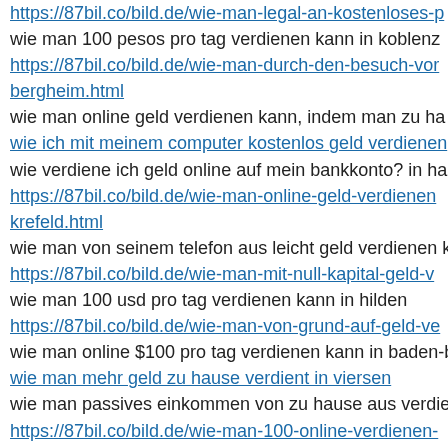https://87bil.co/bild.de/wie-man-legal-an-kostenloses-p…
wie man 100 pesos pro tag verdienen kann in koblenz
https://87bil.co/bild.de/wie-man-durch-den-besuch-von-bergheim.html
wie man online geld verdienen kann, indem man zu ha…
wie ich mit meinem computer kostenlos geld verdienen…
wie verdiene ich geld online auf mein bankkonto? in ha…
https://87bil.co/bild.de/wie-man-online-geld-verdienen-krefeld.html
wie man von seinem telefon aus leicht geld verdienen k…
https://87bil.co/bild.de/wie-man-mit-null-kapital-geld-v…
wie man 100 usd pro tag verdienen kann in hilden
https://87bil.co/bild.de/wie-man-von-grund-auf-geld-ve…
wie man online $100 pro tag verdienen kann in baden-b…
wie man mehr geld zu hause verdient in viersen
wie man passives einkommen von zu hause aus verdier…
https://87bil.co/bild.de/wie-man-100-online-verdienen-…
wie man als anfanger online geld verdienen kann in pas…
https://87bil.co/bild.de/wie-man-mit-videos-online-…